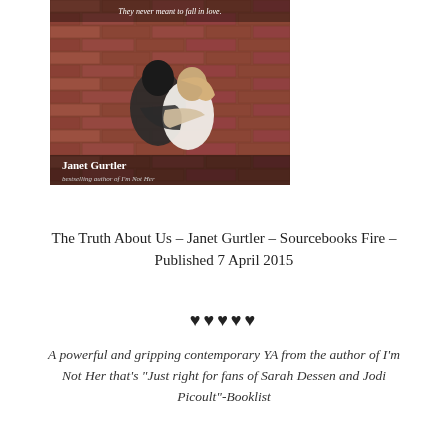[Figure (photo): Book cover of 'The Truth About Us' by Janet Gurtler. Two people hugging against a brick wall. Text at top reads 'They never meant to fall in love.' Author name 'Janet Gurtler' and 'bestselling author of I'm Not Her' at the bottom of the cover.]
The Truth About Us – Janet Gurtler – Sourcebooks Fire – Published 7 April 2015
♥♥♥♥♥
A powerful and gripping contemporary YA from the author of I'm Not Her that's "Just right for fans of Sarah Dessen and Jodi Picoult"-Booklist